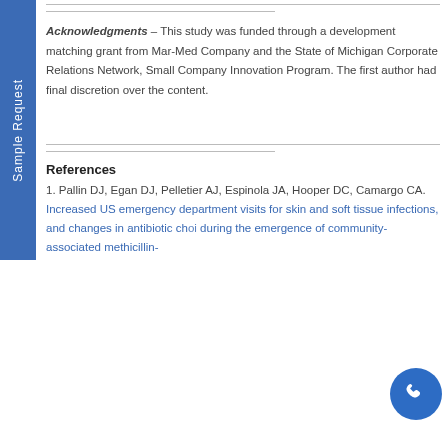Acknowledgments – This study was funded through a development matching grant from Mar-Med Company and the State of Michigan Corporate Relations Network, Small Company Innovation Program. The first author had final discretion over the content.
References
1. Pallin DJ, Egan DJ, Pelletier AJ, Espinola JA, Hooper DC, Camargo CA. Increased US emergency department visits for skin and soft tissue infections, and changes in antibiotic choices, during the emergence of community-associated methicillin-